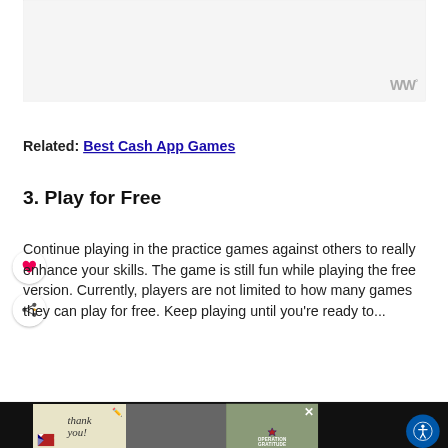[Figure (other): Advertisement placeholder - gray/white box with Mediavine watermark logo in bottom right]
Related: Best Cash App Games
3. Play for Free
Continue playing in the practice games against others to really enhance your skills. The game is still fun while playing the free version. Currently, players are not limited to how many games they can play for free. Keep playing until you're ready to...
[Figure (other): Bottom banner advertisement - Operation Gratitude ad with military thank you image on dark background]